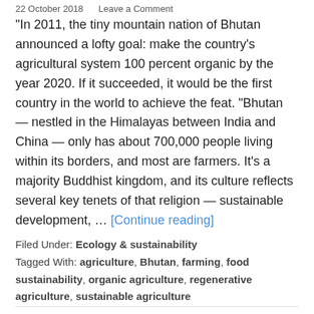22 October 2018    Leave a Comment
"In 2011, the tiny mountain nation of Bhutan announced a lofty goal: make the country's agricultural system 100 percent organic by the year 2020. If it succeeded, it would be the first country in the world to achieve the feat. "Bhutan — nestled in the Himalayas between India and China — only has about 700,000 people living within its borders, and most are farmers. It's a majority Buddhist kingdom, and its culture reflects several key tenets of that religion — sustainable development, … [Continue reading]
Filed Under: Ecology & sustainability
Tagged With: agriculture, Bhutan, farming, food sustainability, organic agriculture, regenerative agriculture, sustainable agriculture